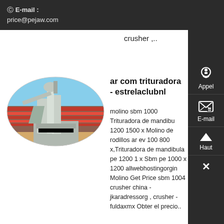E-mail : price@pejaw.com
crusher ,..
[Figure (photo): Industrial milling/grinding machine photographed in an oval crop, shown in a stadium or industrial setting with machinery towers and pipes]
ar com trituradora - estrelaclubnl
molino sbm 1000 Trituradora de mandibu 1200 1500 x Molino de rodillos ar ev 100 800 x,Trituradora de mandibula pe 1200 1 x Sbm pe 1000 x 1200 allwebhostingorgin Molino Get Price sbm 1004 crusher china - jkaradressorg , crusher - fuldaxmx Obter el precio..